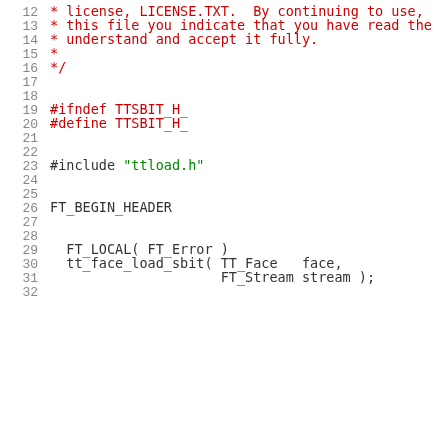12   * license, LICENSE.TXT.  By continuing to use,
13   * this file you indicate that you have read the
14   * understand and accept it fully.
15   *
16   */
17
18
19   #ifndef TTSBIT_H_
20   #define TTSBIT_H_
21
22
23   #include "ttload.h"
24
25
26   FT_BEGIN_HEADER
27
28
29     FT_LOCAL( FT_Error )
30     tt_face_load_sbit( TT_Face   face,
31                        FT_Stream stream );
32